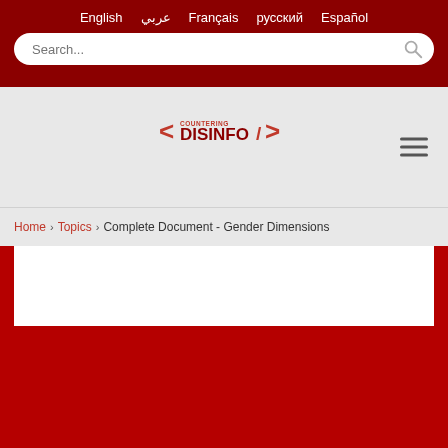English | عربي | Français | русский | Español
[Figure (other): Search bar with rounded white background and search icon]
[Figure (logo): Countering Disinfo logo with code bracket styling]
[Figure (other): Hamburger menu icon with three horizontal lines]
Home › Topics › Complete Document - Gender Dimensions